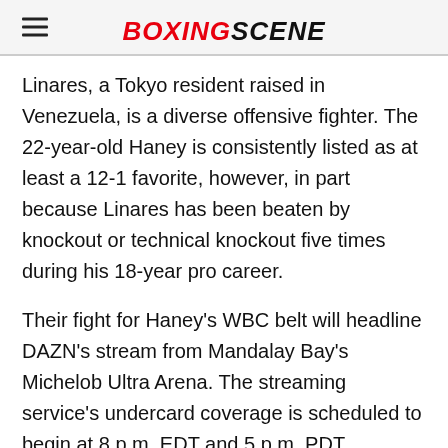BOXINGSCENE
Linares, a Tokyo resident raised in Venezuela, is a diverse offensive fighter. The 22-year-old Haney is consistently listed as at least a 12-1 favorite, however, in part because Linares has been beaten by knockout or technical knockout five times during his 18-year pro career.
Their fight for Haney's WBC belt will headline DAZN's stream from Mandalay Bay's Michelob Ultra Arena. The streaming service's undercard coverage is scheduled to begin at 8 p.m. EDT and 5 p.m. PDT.
Keith Idec is a senior writer/columnist for BoxingScene.com. He can be reached on Twitter